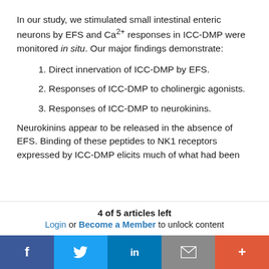In our study, we stimulated small intestinal enteric neurons by EFS and Ca2+ responses in ICC-DMP were monitored in situ. Our major findings demonstrate:
1. Direct innervation of ICC-DMP by EFS.
2. Responses of ICC-DMP to cholinergic agonists.
3. Responses of ICC-DMP to neurokinins.
Neurokinins appear to be released in the absence of EFS. Binding of these peptides to NK1 receptors expressed by ICC-DMP elicits much of what had been
4 of 5 articles left
Login or Become a Member to unlock content